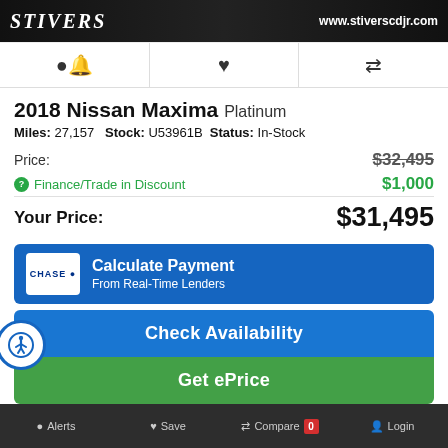STIVERS   www.stiverscdjr.com
[Figure (screenshot): Icon navigation row with bell, heart, and compare icons]
2018 Nissan Maxima Platinum
Miles: 27,157   Stock: U53961B   Status: In-Stock
Price: $32,495
Finance/Trade in Discount $1,000
Your Price: $31,495
[Figure (screenshot): Chase Calculate Payment button - From Real-Time Lenders]
[Figure (screenshot): Check Availability blue button with accessibility icon]
[Figure (screenshot): Get ePrice green button]
Alerts   Save   Compare 0   Login